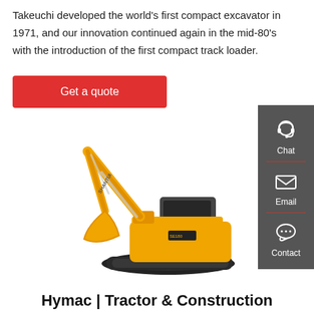Takeuchi developed the world's first compact excavator in 1971, and our innovation continued again in the mid-80's with the introduction of the first compact track loader.
Get a quote
[Figure (illustration): Yellow Shantui compact excavator on white background, with articulated arm and bucket, rubber tracks]
[Figure (infographic): Dark grey sidebar with Chat (headset icon), Email (envelope icon), and Contact (speech bubble icon) options]
Hymac | Tractor & Construction